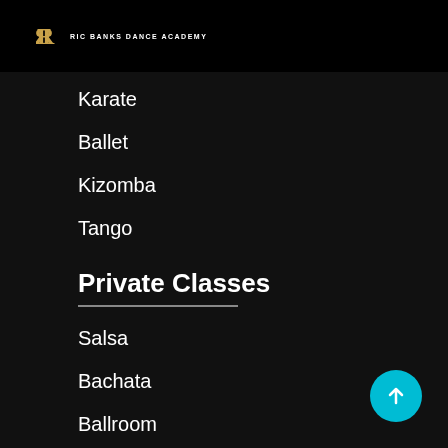RB RIC BANKS DANCE ACADEMY
Karate
Ballet
Kizomba
Tango
Private Classes
Salsa
Bachata
Ballroom
Kizomba
Tango